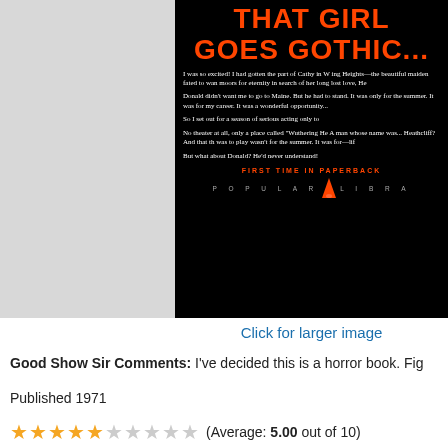[Figure (photo): Back cover of a paperback book with black background. Title in orange/red text reads 'THAT GIRL GOES GOTHIC...' with white body text paragraphs describing the plot, followed by 'FIRST TIME IN PAPERBACK' and 'POPULAR LIBRARY' text at the bottom.]
Click for larger image
Good Show Sir Comments: I've decided this is a horror book. Fig...
Published 1971
(Average: 5.00 out of 10)